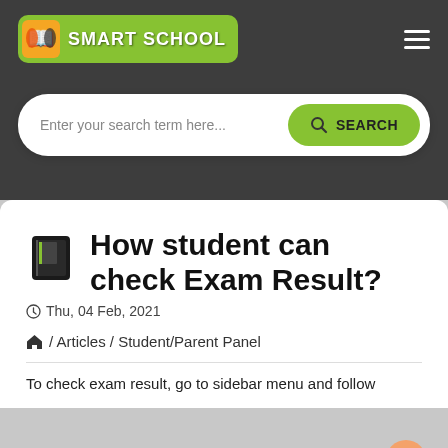SMART SCHOOL
Enter your search term here...
How student can check Exam Result?
Thu, 04 Feb, 2021
/ Articles / Student/Parent Panel
To check exam result, go to sidebar menu and follow